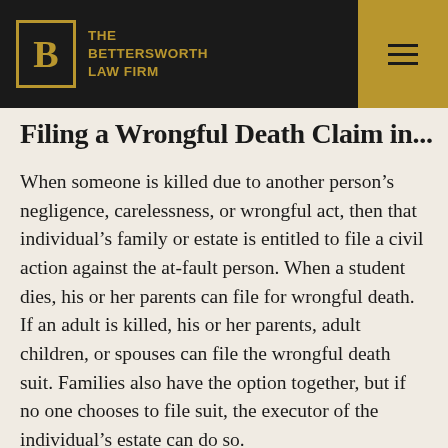THE BETTERSWORTH LAW FIRM
Filing a Wrongful Death Claim in...
When someone is killed due to another person's negligence, carelessness, or wrongful act, then that individual's family or estate is entitled to file a civil action against the at-fault person. When a student dies, his or her parents can file for wrongful death. If an adult is killed, his or her parents, adult children, or spouses can file the wrongful death suit. Families also have the option together, but if no one chooses to file suit, the executor of the individual's estate can do so.